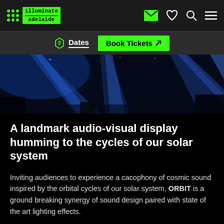illuminate adelaide — navigation bar with logo, email, heart, search, and menu icons
Dates  Book Tickets ↗
[Figure (photo): Dark blue atmospheric stage lighting photo with beams of blue light cutting through smoke/haze, silhouettes of equipment visible]
A landmark audio-visual display humming to the cycles of our solar system
Inviting audiences to experience a cacophony of cosmic sound inspired by the orbital cycles of our solar system, ORBIT is a ground breaking synergy of sound design paired with state of the art lighting effects.
Featuring a dedicated soundtrack conceived and